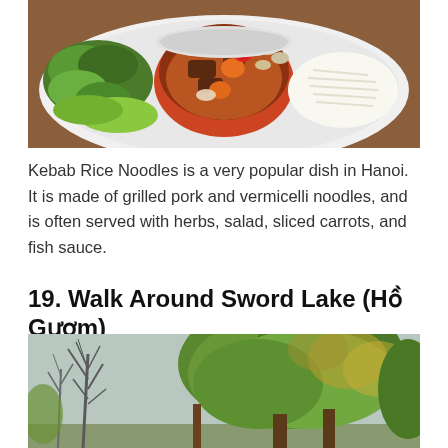[Figure (photo): A white plate with a bowl of kebab rice noodles soup with grilled pork, carrots, chili slices, onions, alongside fresh green herbs and white vermicelli noodles on a wooden table.]
Kebab Rice Noodles is a very popular dish in Hanoi. It is made of grilled pork and vermicelli noodles, and is often served with herbs, salad, sliced carrots, and fish sauce.
19. Walk Around Sword Lake (Hồ Gươm)
[Figure (photo): A park scene with large green trees with dense foliage on the right and bare thin trees on the left, likely at Sword Lake (Hồ Gươm) in Hanoi.]